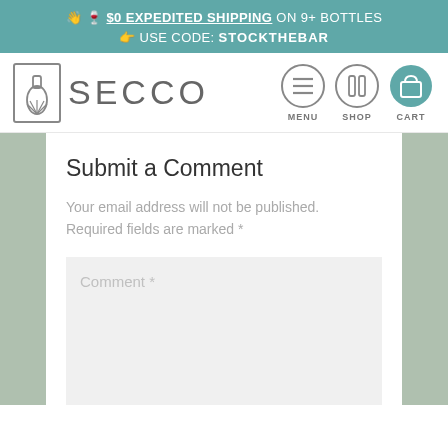👋 🍷 $0 EXPEDITED SHIPPING ON 9+ BOTTLES 👉 USE CODE: STOCKTHEBAR
[Figure (logo): Secco wine brand logo with bottle icon and text SECCO, plus navigation icons for MENU, SHOP, CART]
Submit a Comment
Your email address will not be published. Required fields are marked *
Comment *